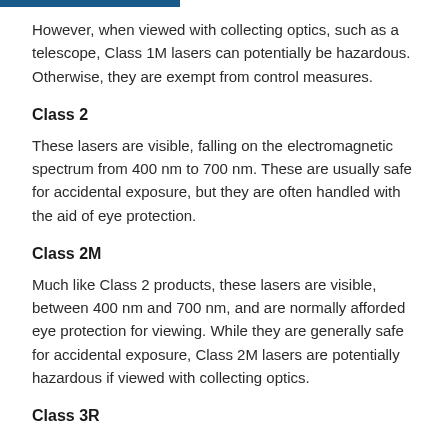However, when viewed with collecting optics, such as a telescope, Class 1M lasers can potentially be hazardous. Otherwise, they are exempt from control measures.
Class 2
These lasers are visible, falling on the electromagnetic spectrum from 400 nm to 700 nm. These are usually safe for accidental exposure, but they are often handled with the aid of eye protection.
Class 2M
Much like Class 2 products, these lasers are visible, between 400 nm and 700 nm, and are normally afforded eye protection for viewing. While they are generally safe for accidental exposure, Class 2M lasers are potentially hazardous if viewed with collecting optics.
Class 3R